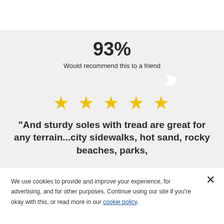93%
Would recommend this to a friend
[Figure (other): Progress bar showing 93% filled]
[Figure (other): 5 yellow stars rating]
"And sturdy soles with tread are great for any terrain...city sidewalks, hot sand, rocky beaches, parks,
We use cookies to provide and improve your experience, for advertising, and for other purposes. Continue using our site if you're okay with this, or read more in our cookie policy.